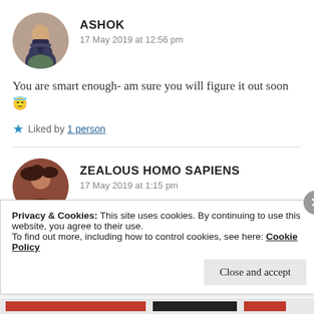[Figure (photo): Circular avatar photo of Ashok, a person sitting outdoors on the ground among fallen leaves, wearing a dark shirt]
ASHOK
17 May 2019 at 12:56 pm
You are smart enough- am sure you will figure it out soon 😇
★ Liked by 1 person
[Figure (photo): Circular avatar photo of Zealous Homo Sapiens, a person with dark hair]
ZEALOUS HOMO SAPIENS
17 May 2019 at 1:15 pm
Privacy & Cookies: This site uses cookies. By continuing to use this website, you agree to their use.
To find out more, including how to control cookies, see here: Cookie Policy
Close and accept